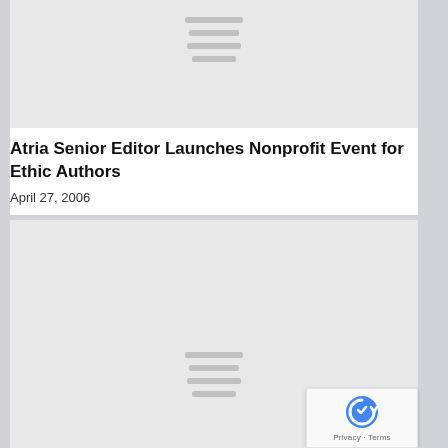[Figure (other): Placeholder image with gray lines indicating loading or unavailable image content, top section]
Atria Senior Editor Launches Nonprofit Event for Ethic Authors
April 27, 2006
[Figure (other): Placeholder image with gray lines indicating loading or unavailable image content, bottom section]